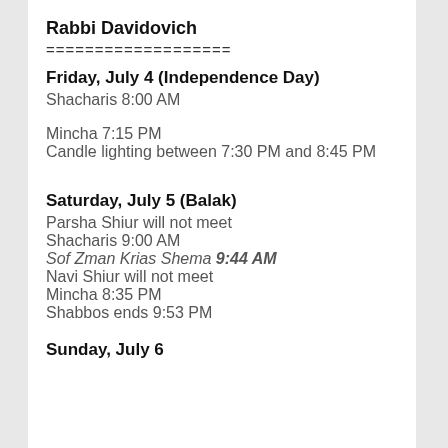Rabbi Davidovich
===================
Friday, July 4 (Independence Day)
Shacharis 8:00 AM
Mincha 7:15 PM
Candle lighting between 7:30 PM and 8:45 PM
Saturday, July 5 (Balak)
Parsha Shiur will not meet
Shacharis 9:00 AM
Sof Zman Krias Shema 9:44 AM
Navi Shiur will not meet
Mincha 8:35 PM
Shabbos ends 9:53 PM
Sunday, July 6